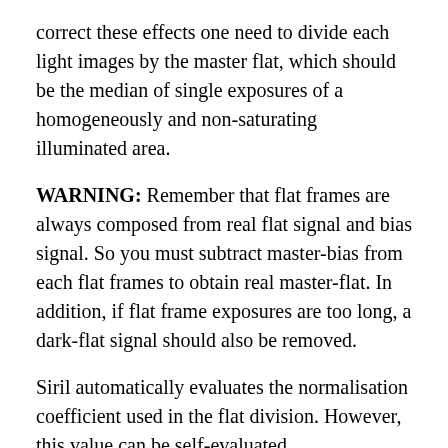correct these effects one need to divide each light images by the master flat, which should be the median of single exposures of a homogeneously and non-saturating illuminated area.
WARNING: Remember that flat frames are always composed from real flat signal and bias signal. So you must subtract master-bias from each flat frames to obtain real master-flat. In addition, if flat frame exposures are too long, a dark-flat signal should also be removed.
Siril automatically evaluates the normalisation coefficient used in the flat division. However, this value can be self-evaluated.
The master flat frame should be created by stacking flat frames with the median algorithm (or Winsorized by checking the rejection levels at the end of the